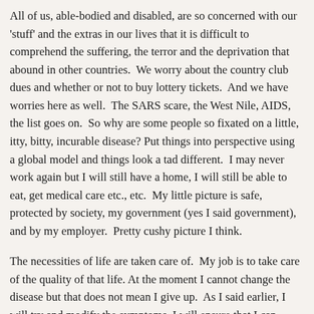All of us, able-bodied and disabled, are so concerned with our 'stuff' and the extras in our lives that it is difficult to comprehend the suffering, the terror and the deprivation that abound in other countries. We worry about the country club dues and whether or not to buy lottery tickets. And we have worries here as well. The SARS scare, the West Nile, AIDS, the list goes on. So why are some people so fixated on a little, itty, bitty, incurable disease? Put things into perspective using a global model and things look a tad different. I may never work again but I will still have a home, I will still be able to eat, get medical care etc., etc. My little picture is safe, protected by society, my government (yes I said government), and by my employer. Pretty cushy picture I think.
The necessities of life are taken care of. My job is to take care of the quality of that life. At the moment I cannot change the disease but that does not mean I give up. As I said earlier, I will try and modify the symptoms. I will ensure that I can contribute to society and remain a valuable member of my little world. But I will never forget to be thankful that I am here. I will never forget...